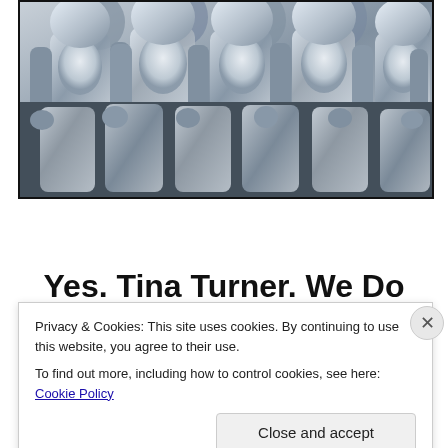[Figure (photo): Black and white photo of multiple metallic humanoid robot figures standing together, viewed from the front, with shiny silver surfaces.]
Yes. Tina Turner. We Do Need
Privacy & Cookies: This site uses cookies. By continuing to use this website, you agree to their use.
To find out more, including how to control cookies, see here: Cookie Policy
Close and accept